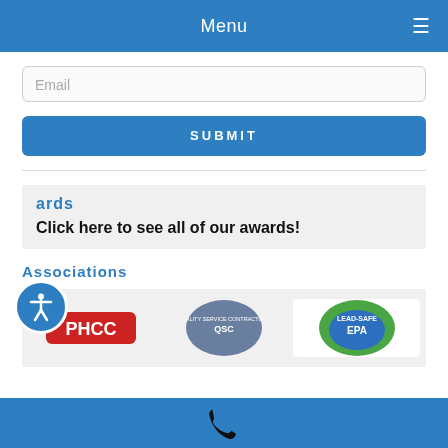Menu
Email
SUBMIT
ards
Click here to see all of our awards!
Associations
[Figure (logo): Association logos: PHCC (red), Quality Service Contractors (blue/grey), Lead-Safe EPA (green/blue badge)]
phone icon